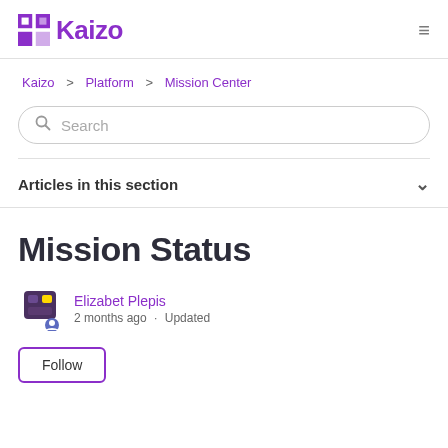Kaizo
Kaizo > Platform > Mission Center
Search
Articles in this section
Mission Status
Elizabet Plepis
2 months ago · Updated
Follow